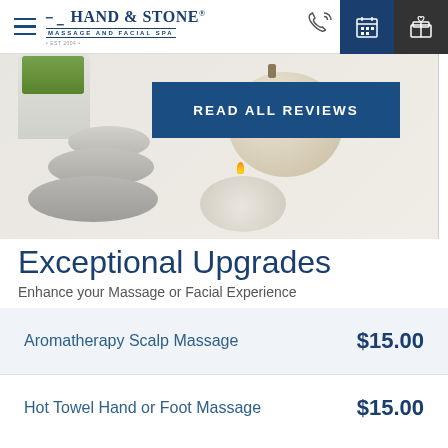Hand & Stone Massage and Facial Spa — navigation bar with phone, calendar, and gift icons
[Figure (photo): Spa still-life photo: white pot with plant, stacked grey stones, tan pumpkin/ball, white candle with flame. A blue button overlay reads READ ALL REVIEWS.]
Exceptional Upgrades
Enhance your Massage or Facial Experience
| Service | Price |
| --- | --- |
| Aromatherapy Scalp Massage | $15.00 |
| Hot Towel Hand or Foot Massage | $15.00 |